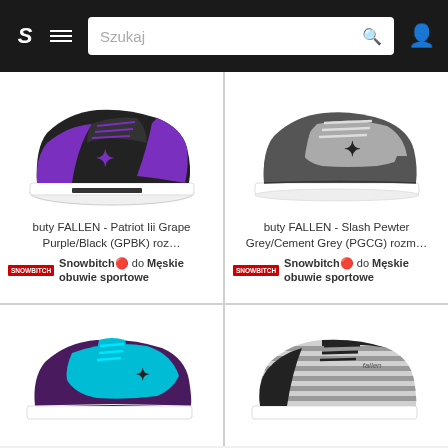S  ≡  Szukaj 🔍  👤
[Figure (photo): Black and purple Fallen Patriot III skate shoe]
buty FALLEN - Patriot Iii Grape Purple/Black (GPBK) roz…
Snowbitch 🔴 do Męskie obuwie sportowe
[Figure (photo): Grey Fallen Slash Pewter Grey/Cement Grey skate shoe]
buty FALLEN - Slash Pewter Grey/Cement Grey (PGCG) rozm…
Snowbitch 🔴 do Męskie obuwie sportowe
[Figure (photo): Purple and teal/cyan Fallen skate shoe]
[Figure (photo): Grey striped Fallen skate shoe]